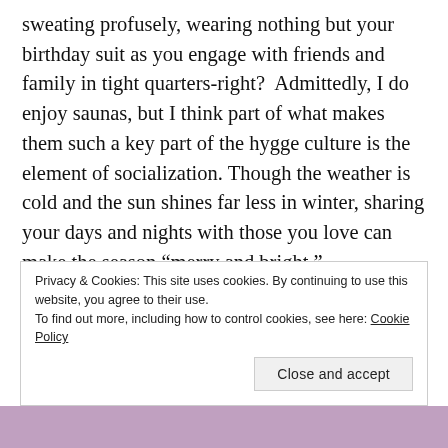sweating profusely, wearing nothing but your birthday suit as you engage with friends and family in tight quarters-right?  Admittedly, I do enjoy saunas, but I think part of what makes them such a key part of the hygge culture is the element of socialization. Though the weather is cold and the sun shines far less in winter, sharing your days and nights with those you love can make the season “merry and bright.”
So… some ideas for enjoying the great indoors during winter…
Privacy & Cookies: This site uses cookies. By continuing to use this website, you agree to their use.
To find out more, including how to control cookies, see here: Cookie Policy